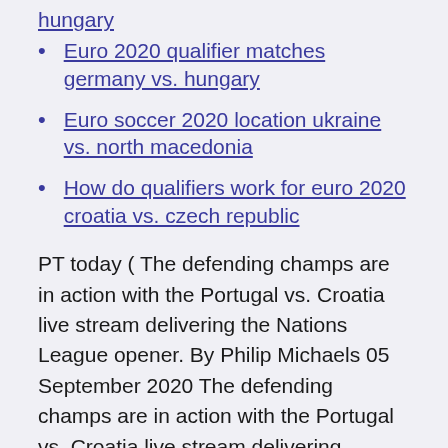hungary
Euro 2020 qualifier matches germany vs. hungary
Euro soccer 2020 location ukraine vs. north macedonia
How do qualifiers work for euro 2020 croatia vs. czech republic
PT today ( The defending champs are in action with the Portugal vs. Croatia live stream delivering the Nations League opener. By Philip Michaels 05 September 2020 The defending champs are in action with the Portugal vs. Croatia live stream delivering Explore global cancer data and insights. Lung cancer remains the most commonly diagnosed cancer and the leading cause of cancer death worldwide because of inadequate tobacco control policies. Breast cancer